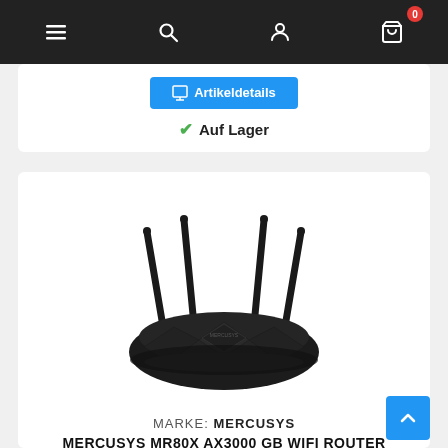Navigation bar with menu, search, account, and cart (0 items) icons
Artikeldetails
✓ Auf Lager
[Figure (photo): Mercusys MR80X AX3000 GB WiFi Router — a black dual-band WiFi router with four tall external antennas, viewed from slightly above and in front.]
MARKE: MERCUSYS
MERCUSYS MR80X AX3000 GB WIFI ROUTER